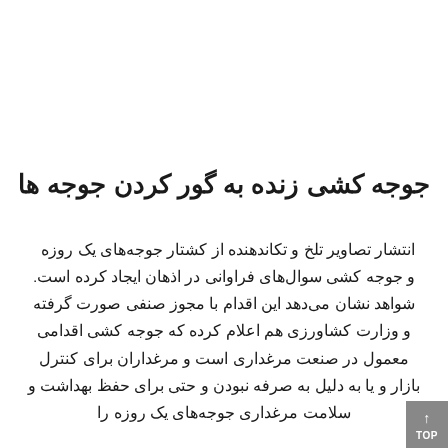جوجه کشی زنده به گور کردن جوجه ها
انتشار تصاویر تلخ و تکاندهنده از کشتار جوجه‌های یک روزه  و جوجه کشی سوال‌های فراوانی در اذهان ایجاد کرده است. شواهد نشان می‌دهد این اقدام با مجوز صنفی صورت گرفته و وزارت کشاورزی هم اعلام کرده که جوجه کشی اقدامی معمول در صنعت مرغداری است و مرغداران برای کنترل بازار و یا به دلیل به صرفه نبودن و حتی برای حفظ بهداشت و سلامت مرغداری جوجه‌های یک روزه را